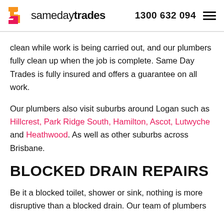samedaytrades  1300 632 094
clean while work is being carried out, and our plumbers fully clean up when the job is complete. Same Day Trades is fully insured and offers a guarantee on all work.
Our plumbers also visit suburbs around Logan such as Hillcrest, Park Ridge South, Hamilton, Ascot, Lutwyche and Heathwood. As well as other suburbs across Brisbane.
BLOCKED DRAIN REPAIRS
Be it a blocked toilet, shower or sink, nothing is more disruptive than a blocked drain. Our team of plumbers